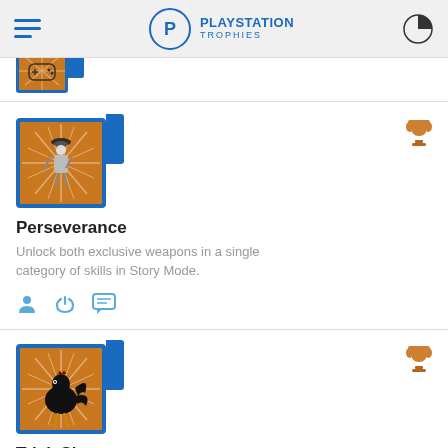PlayStation Trophies
[Figure (illustration): Partially visible trophy item with controller icon at top]
Perseverance
Unlock both exclusive weapons in a single category of skills in Story Mode.
[Figure (illustration): Bronze trophy cup icon]
[Figure (illustration): Action icons: person, power, chat]
Trick Shot
Kill a bird during a winning duel.
[Figure (illustration): Bronze trophy cup icon]
[Figure (illustration): Action icons: person, power, chat with count (3)]